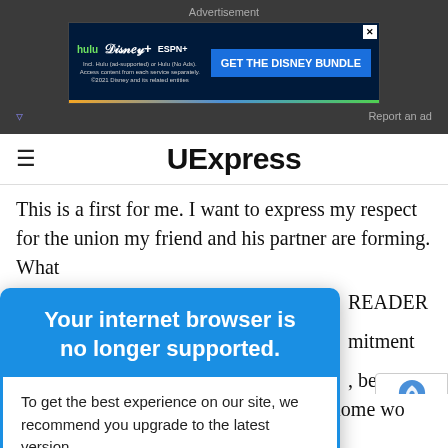[Figure (screenshot): Advertisement banner for Disney Bundle featuring Hulu, Disney+, ESPN+ logos with a blue CTA button 'GET THE DISNEY BUNDLE']
UExpress
This is a first for me. I want to express my respect for the union my friend and his partner are forming. What
[Figure (screenshot): Browser compatibility warning modal overlay: 'Your internet browser is no longer supported. To get the best experience on our site, we recommend you upgrade to the latest version.']
Yes, do send a gift. Something for their home would be